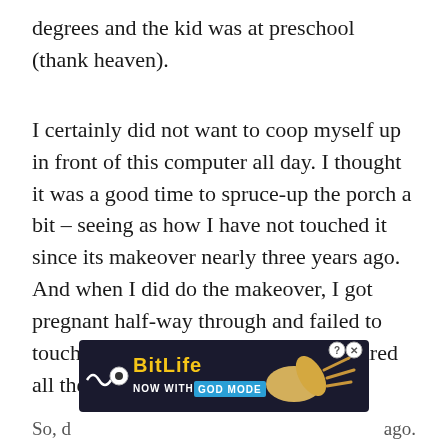degrees and the kid was at preschool (thank heaven).
I certainly did not want to coop myself up in front of this computer all day. I thought it was a good time to spruce-up the porch a bit – seeing as how I have not touched it since its makeover nearly three years ago. And when I did do the makeover, I got pregnant half-way through and failed to touch the lattice on account of being tired all the time.
At least that's the excuse I'm giving.
[Figure (screenshot): BitLife advertisement banner: dark background with BitLife logo in yellow, 'NOW WITH GOD MODE' text, cartoon hand/thumb graphic, help and close buttons in top right.]
So, d… ago.